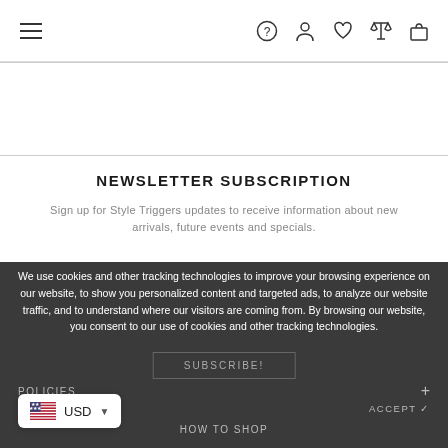Navigation bar with hamburger menu, question mark, user, heart, scale, and bag icons
NEWSLETTER SUBSCRIPTION
Sign up for Style Triggers updates to receive information about new arrivals, future events and specials.
We use cookies and other tracking technologies to improve your browsing experience on our website, to show you personalized content and targeted ads, to analyze our website traffic, and to understand where our visitors are coming from. By browsing our website, you consent to our use of cookies and other tracking technologies.
SUBSCRIBE!
POLICIES +
PRIVACY POLICY
ACCEPT ✓
HOW TO SHOP
USD